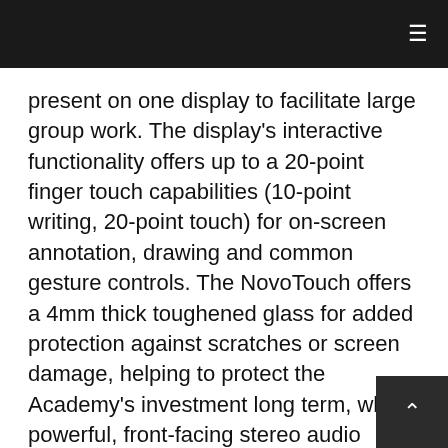≡
present on one display to facilitate large group work. The display's interactive functionality offers up to a 20-point finger touch capabilities (10-point writing, 20-point touch) for on-screen annotation, drawing and common gesture controls. The NovoTouch offers a 4mm thick toughened glass for added protection against scratches or screen damage, helping to protect the Academy's investment long term, while powerful, front-facing stereo audio speakers with up to 32 of total power (16Wx2) and multiple audi